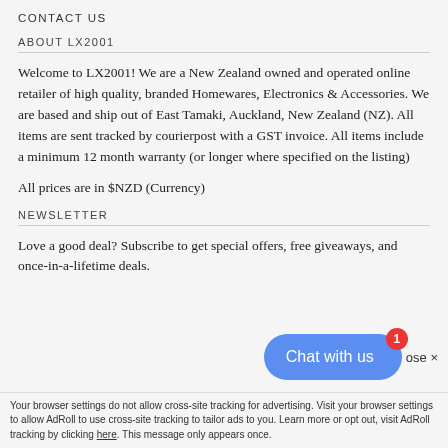CONTACT US
ABOUT LX2001
Welcome to LX2001! We are a New Zealand owned and operated online retailer of high quality, branded Homewares, Electronics & Accessories. We are based and ship out of East Tamaki, Auckland, New Zealand (NZ). All items are sent tracked by courierpost with a GST invoice. All items include a minimum 12 month warranty (or longer where specified on the listing)
All prices are in $NZD (Currency)
NEWSLETTER
Love a good deal? Subscribe to get special offers, free giveaways, and once-in-a-lifetime deals.
Your browser settings do not allow cross-site tracking for advertising. Visit your browser settings to allow AdRoll to use cross-site tracking to tailor ads to you. Learn more or opt out, visit AdRoll tracking by clicking here. This message only appears once.